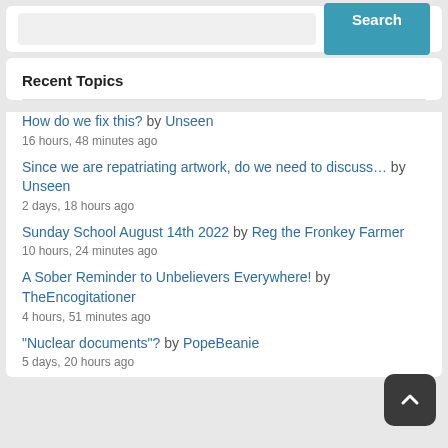[Figure (screenshot): Search bar with text input field and teal Search button]
Recent Topics
How do we fix this? by Unseen
16 hours, 48 minutes ago
Since we are repatriating artwork, do we need to discuss… by Unseen
2 days, 18 hours ago
Sunday School August 14th 2022 by Reg the Fronkey Farmer
10 hours, 24 minutes ago
A Sober Reminder to Unbelievers Everywhere! by TheEncogitationer
4 hours, 51 minutes ago
"Nuclear documents"? by PopeBeanie
5 days, 20 hours ago